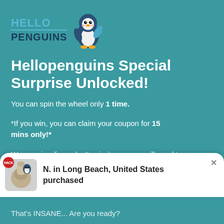[Figure (logo): Hello Penguins logo with teal 'HELLO' text, dark navy 'PENGUINS' text, and a cartoon penguin mascot]
Hellopenguins Special Surprise Unlocked!
You can spin the wheel only 1 time.
*If you win, you can claim your coupon for 15 mins only!*
We promise if you don't spin it now, you will need to wait for the next month!
*You [partially obscured] to [obscured]
That's INSANE... Are you ready?
[Figure (screenshot): Popup notification showing 'N. in Long Beach, United States purchased' with a product image on the left and an X close button on the right]